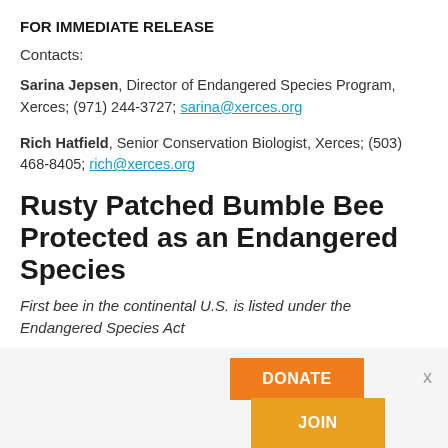FOR IMMEDIATE RELEASE
Contacts:
Sarina Jepsen, Director of Endangered Species Program, Xerces; (971) 244-3727; sarina@xerces.org
Rich Hatfield, Senior Conservation Biologist, Xerces; (503) 468-8405; rich@xerces.org
Rusty Patched Bumble Bee Protected as an Endangered Species
First bee in the continental U.S. is listed under the Endangered Species Act
PORTLAND, Ore., January 10, 2017—Responding to a petition
[Figure (other): Donate and Join buttons widget overlay at the bottom of the page]